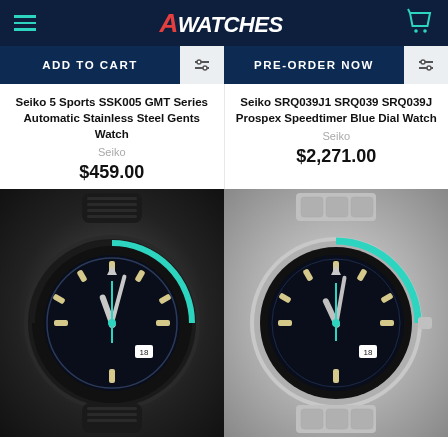AWatches
ADD TO CART | PRE-ORDER NOW
Seiko 5 Sports SSK005 GMT Series Automatic Stainless Steel Gents Watch
Seiko SRQ039J1 SRQ039 SRQ039J Prospex Speedtimer Blue Dial Watch
Seiko
Seiko
$459.00
$2,271.00
[Figure (photo): Seiko 5 Sports diver watch with black rubber strap and dark dial with blue accents]
[Figure (photo): Seiko Prospex Speedtimer watch with silver stainless steel bracelet and dark blue dial]